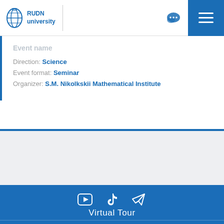RUDN university
Event name
Direction: Science
Event format: Seminar
Organizer: S.M. Nikolkskii Mathematical Institute
[Figure (other): Social media icons in footer: YouTube, TikTok, Telegram]
Virtual Tour